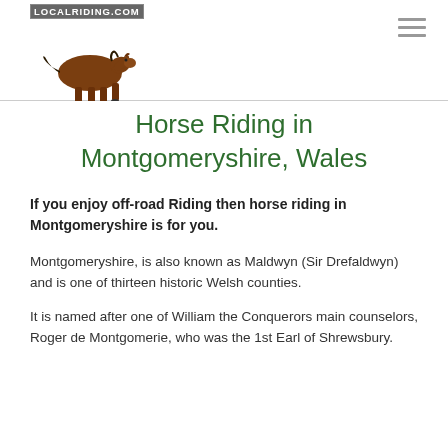LOCALRIDING.COM
Horse Riding in Montgomeryshire, Wales
If you enjoy off-road Riding then horse riding in Montgomeryshire is for you.
Montgomeryshire, is also known as Maldwyn (Sir Drefaldwyn) and is one of thirteen historic Welsh counties.
It is named after one of William the Conquerors main counselors, Roger de Montgomerie, who was the 1st Earl of Shrewsbury.